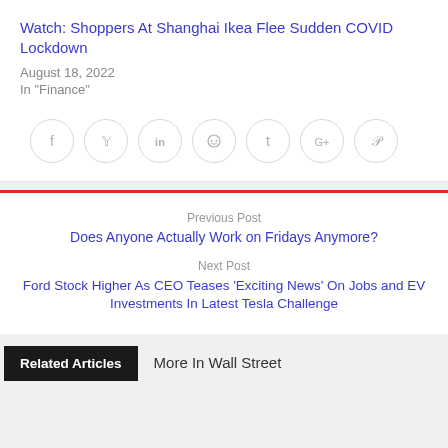Watch: Shoppers At Shanghai Ikea Flee Sudden COVID Lockdown
August 18, 2022
In "Finance"
[Figure (other): Social media share buttons: Facebook, Twitter, LinkedIn, Reddit, Tumblr, Google+, Pinterest]
Previous Post
Does Anyone Actually Work on Fridays Anymore?
Next Post
Ford Stock Higher As CEO Teases 'Exciting News' On Jobs and EV Investments In Latest Tesla Challenge
Related Articles
More In Wall Street